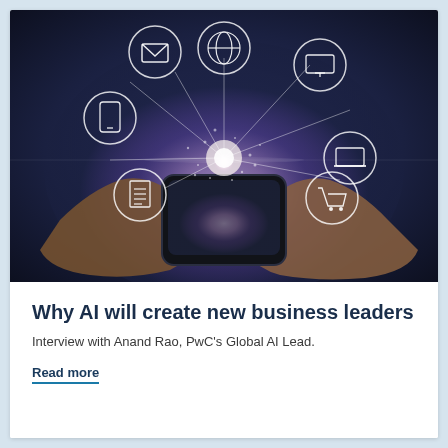[Figure (photo): A person holding a smartphone with glowing digital network icons (email, globe, monitor, tablet, document, shopping cart, laptop) emanating from it in a dark blue bokeh background, representing digital connectivity and AI technology.]
Why AI will create new business leaders
Interview with Anand Rao, PwC's Global AI Lead.
Read more